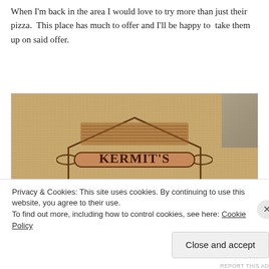When I'm back in the area I would love to try more than just their pizza.  This place has much to offer and I'll be happy to  take them up on said offer.
[Figure (photo): Photo of a cardboard pizza box stamped with the Kermit's Bakeshoppe logo — a rolling-pin shaped badge reading KERMIT'S with decorative text below, plus contact info: 267-639-4537, 2204 Washington Ave, KermitsBakeshoppePE.com]
Privacy & Cookies: This site uses cookies. By continuing to use this website, you agree to their use.
To find out more, including how to control cookies, see here: Cookie Policy